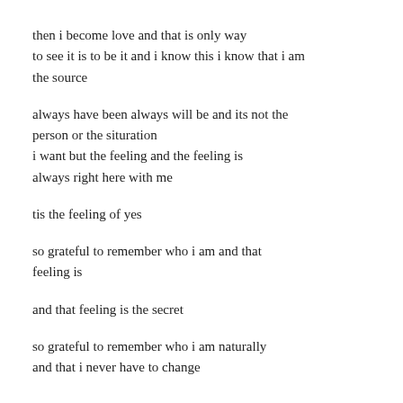then i become love and that is only way
to see it is to be it and i know this i know that i am
the source
always have been always will be and its not the
person or the situration
i want but the feeling and the feeling is
always right here with me
tis the feeling of yes
so grateful to remember who i am and that
feeling is
and that feeling is the secret
so grateful to remember who i am naturally
and that i never have to change